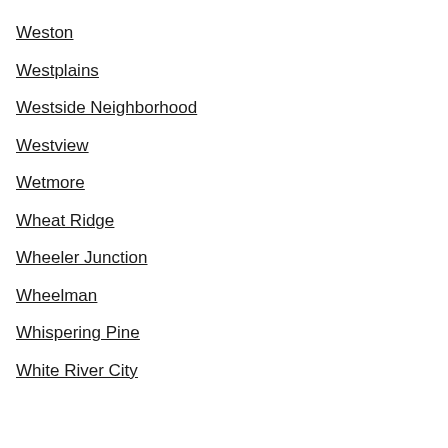Weston
Westplains
Westside Neighborhood
Westview
Wetmore
Wheat Ridge
Wheeler Junction
Wheelman
Whispering Pine
White River City